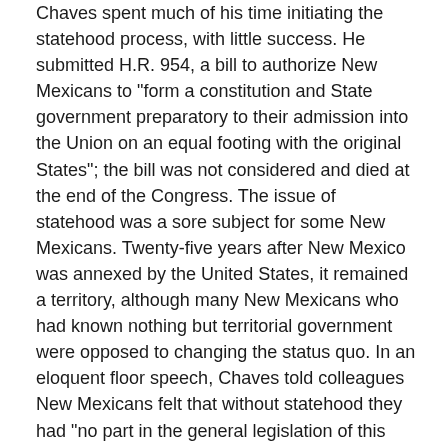Chaves spent much of his time initiating the statehood process, with little success. He submitted H.R. 954, a bill to authorize New Mexicans to "form a constitution and State government preparatory to their admission into the Union on an equal footing with the original States"; the bill was not considered and died at the end of the Congress. The issue of statehood was a sore subject for some New Mexicans. Twenty-five years after New Mexico was annexed by the United States, it remained a territory, although many New Mexicans who had known nothing but territorial government were opposed to changing the status quo. In an eloquent floor speech, Chaves told colleagues New Mexicans felt that without statehood they had "no part in the general legislation of this country, and only a limited and subordinate part … which directly relates to their own local interests." New Mexicans, according to Chaves, were "anxious to assume that relation to the Government of the United States which will … advance their local interests, and will enable them, through their Senators and Representatives in Congress, to demand … protection and consideration from the Government which they now have to solicit as a matter of grace."39  The act that would enable New Mexico's statehood failed to pass because of political gridlock.40